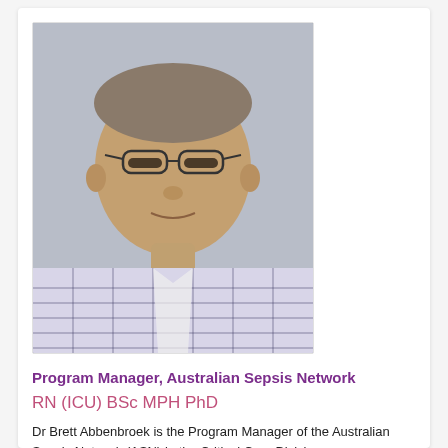[Figure (photo): Headshot photo of Dr Brett Abbenbroek, a middle-aged man wearing glasses and a blue plaid/checked shirt, grey background]
Program Manager, Australian Sepsis Network
RN (ICU) BSc MPH PhD
Dr Brett Abbenbroek is the Program Manager of the Australian Sepsis Network (ASN) in the Critical Care Division